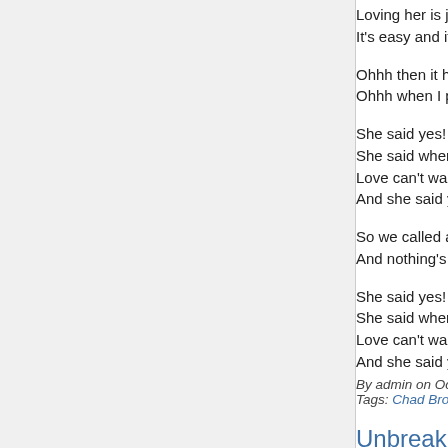Loving her is just like breathing
It's easy and it's obvious she was made for me
Ohhh then it happened one night looking in her
Ohhh when I popped the question much to my s
She said yes! and I said wow!
She said when and I said how about right now
Love can't wait then I asked if she believed in fa
And she said yes
So we called a preacher, family and friends
And nothing's been the same since?
She said yes! and I said wow!
She said when and I said how about right now
Love can't wait then I asked if she believed in fa
And she said yes
By admin on October 7, 2013 | Y Song Lyrics | 10 co
Tags: Chad Brock
Unbreak My Heart – Chad Broc
I can't believe that we thought we were through
We said some things and acted like a couple of
Let's rekindle the fire while there's still a spark
Let me uncry your tears and you unbreak my he